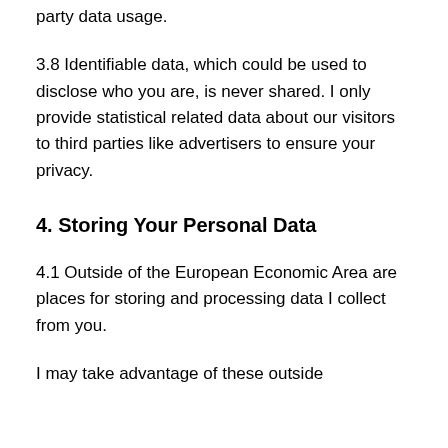party data usage.
3.8 Identifiable data, which could be used to disclose who you are, is never shared. I only provide statistical related data about our visitors to third parties like advertisers to ensure your privacy.
4. Storing Your Personal Data
4.1 Outside of the European Economic Area are places for storing and processing data I collect from you.
I may take advantage of these outside